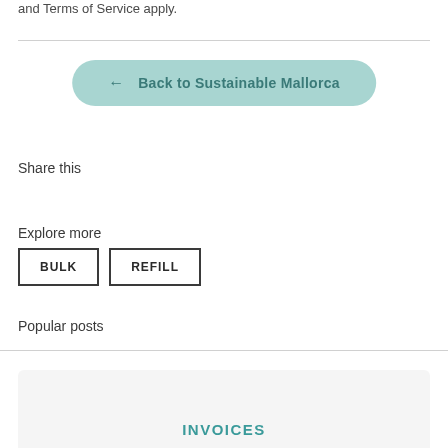and Terms of Service apply.
← Back to Sustainable Mallorca
Share this
Explore more
BULK
REFILL
Popular posts
INVOICES